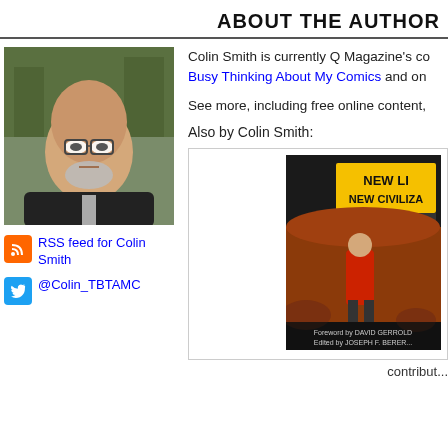ABOUT THE AUTHOR
[Figure (photo): Headshot photo of Colin Smith, a bald middle-aged man with glasses and a grey beard, wearing a dark suit and tie, in front of trees]
RSS feed for Colin Smith
@Colin_TBTAMC
Colin Smith is currently Q Magazine's co... Busy Thinking About My Comics and on...
See more, including free online content,
Also by Colin Smith:
[Figure (photo): Book cover: NEW LIFE, NEW CIVILIZA... - Exploring Star Trek... - featuring a figure in a red Star Trek uniform on an alien landscape. Foreword by David Gerrold, edited by Joseph F. Berera]
contribut...